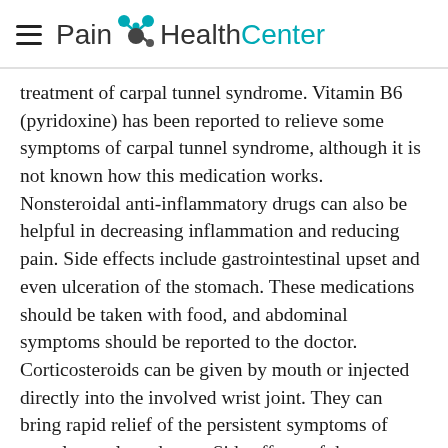Pain HealthCenter
treatment of carpal tunnel syndrome. Vitamin B6 (pyridoxine) has been reported to relieve some symptoms of carpal tunnel syndrome, although it is not known how this medication works. Nonsteroidal anti-inflammatory drugs can also be helpful in decreasing inflammation and reducing pain. Side effects include gastrointestinal upset and even ulceration of the stomach. These medications should be taken with food, and abdominal symptoms should be reported to the doctor. Corticosteroids can be given by mouth or injected directly into the involved wrist joint. They can bring rapid relief of the persistent symptoms of carpal tunnel syndrome. Side effects of these medications, when given in short courses, for carpal tunnel syndrome are minimal. However, corticosteroids can aggravate diabetes and should be